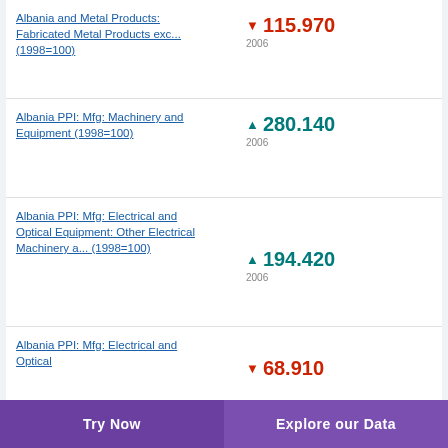Albania and Metal Products: Fabricated Metal Products exc... (1998=100)
Albania PPI: Mfg: Machinery and Equipment (1998=100)
Albania PPI: Mfg: Electrical and Optical Equipment: Other Electrical Machinery a... (1998=100)
Albania PPI: Mfg: Electrical and Optical
Try Now   Explore our Data